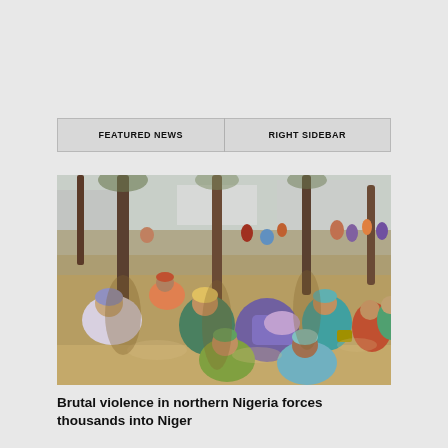| FEATURED NEWS | RIGHT SIDEBAR |
| --- | --- |
[Figure (photo): A large group of women and children sitting on the ground under trees in an open outdoor area, many in colorful traditional African clothing, appearing to be displaced persons or refugees in a camp setting.]
Brutal violence in northern Nigeria forces thousands into Niger